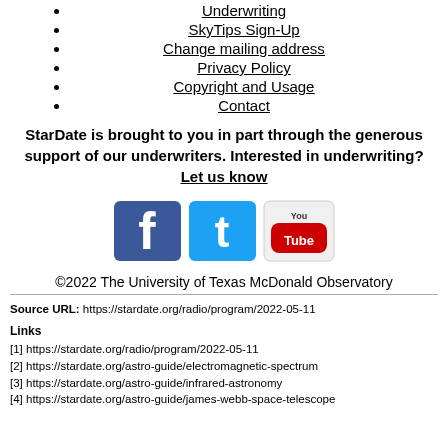Underwriting
SkyTips Sign-Up
Change mailing address
Privacy Policy
Copyright and Usage
Contact
StarDate is brought to you in part through the generous support of our underwriters. Interested in underwriting? Let us know
[Figure (other): Social media icons for Facebook, Twitter, and YouTube]
©2022 The University of Texas McDonald Observatory
Source URL: https://stardate.org/radio/program/2022-05-11
Links
[1] https://stardate.org/radio/program/2022-05-11
[2] https://stardate.org/astro-guide/electromagnetic-spectrum
[3] https://stardate.org/astro-guide/infrared-astronomy
[4] https://stardate.org/astro-guide/james-webb-space-telescope